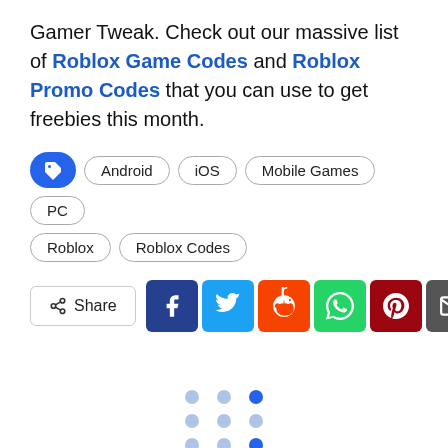Gamer Tweak. Check out our massive list of Roblox Game Codes and Roblox Promo Codes that you can use to get freebies this month.
Tags: Android, iOS, Mobile Games, PC, Roblox, Roblox Codes
[Figure (infographic): Share buttons row with Facebook, Twitter, Reddit, WhatsApp, Pinterest, and Email icons]
[Figure (infographic): Loading spinner dots in a 3x3 grid pattern with some blue and some light blue dots]
[Figure (infographic): Advertisement banner showing Lidl logo with 'In-store shopping' text and a blue diamond arrow icon]